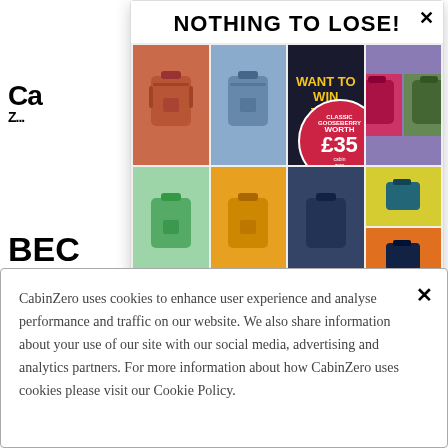[Figure (screenshot): Background website page partially visible behind modals — shows CabinZero logo, cart icon, partial heading 'BEC', list item '1. Sp...', and body text beginning 'Spac... by the m... chan... what... ub has...']
NOTHING TO LOSE!
[Figure (photo): Grid of 8 backpacks in various colors: orange/terracotta, slate blue, dark (win panel), raspberry red, sage green, mint green, yellow, navy, teal/yellow, and orange. Center panel shows 'WANT TO WIN THIS BAG?' with a red circular badge saying 'CLASSIC GOOSEBERRY WORTH £35' with cabin zero logo.]
WE GIVE AWAY A FREE BAG A DAY!
Enter your name and email to join. T&Cs apply.
CabinZero uses cookies to enhance user experience and analyse performance and traffic on our website. We also share information about your use of our site with our social media, advertising and analytics partners. For more information about how CabinZero uses cookies please visit our Cookie Policy.